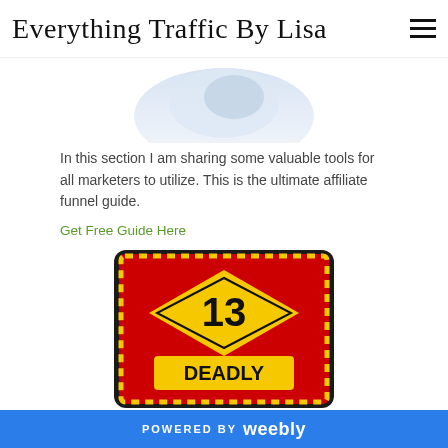Everything Traffic By Lisa
[Figure (photo): Partial image of a product or guide at the top of the content area, mostly cropped]
In this section I am sharing some valuable tools for all marketers to utilize. This is the ultimate affiliate funnel guide.
Get Free Guide Here
[Figure (photo): Tablet device displaying a red and yellow cover with the number 13 and the word DEADLY — appears to be a guide titled '13 Deadly...']
POWERED BY weebly